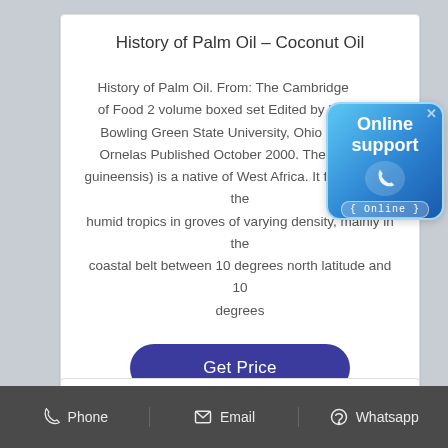History of Palm Oil - Coconut Oil
History of Palm Oil. From: The Cambridge of Food 2 volume boxed set Edited by Ke Bowling Green State University, Ohio Krie Ornelas Published October 2000. The oil guineensis) is a native of West Africa. It flourishes in the humid tropics in groves of varying density, mainly in the coastal belt between 10 degrees north latitude and 10 degrees
[Figure (other): Online support badge with phone icon and 'Online' label]
Get Price
Phone   Email   Whatsapp